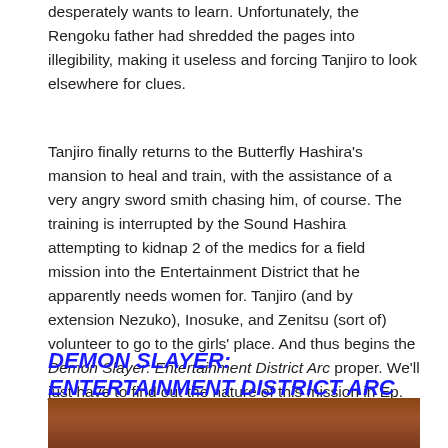desperately wants to learn. Unfortunately, the Rengoku father had shredded the pages into illegibility, making it useless and forcing Tanjiro to look elsewhere for clues.
Tanjiro finally returns to the Butterfly Hashira's mansion to heal and train, with the assistance of a very angry sword smith chasing him, of course. The training is interrupted by the Sound Hashira attempting to kidnap 2 of the medics for a field mission into the Entertainment District that he apparently needs women for. Tanjiro (and by extension Nezuko), Inosuke, and Zenitsu (sort of) volunteer to go to the girls' place. And thus begins the Demon Slayer: Entertainment District Arc proper. We'll just have to find out the nature of this mission in Ep. 2.
DEMON SLAYER: ENTERTAINMENT DISTRICT ARC EP. 1 ~ THE GOOD
[Figure (photo): Bottom portion of image showing characters, partially visible at bottom of page]